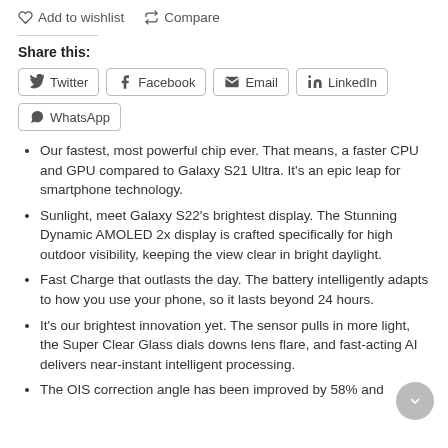Add to wishlist   Compare
Share this:
Twitter  Facebook  Email  LinkedIn  WhatsApp
Our fastest, most powerful chip ever. That means, a faster CPU and GPU compared to Galaxy S21 Ultra. It's an epic leap for smartphone technology.
Sunlight, meet Galaxy S22's brightest display. The Stunning Dynamic AMOLED 2x display is crafted specifically for high outdoor visibility, keeping the view clear in bright daylight.
Fast Charge that outlasts the day. The battery intelligently adapts to how you use your phone, so it lasts beyond 24 hours.
It's our brightest innovation yet. The sensor pulls in more light, the Super Clear Glass dials downs lens flare, and fast-acting AI delivers near-instant intelligent processing.
The OIS correction angle has been improved by 58% and